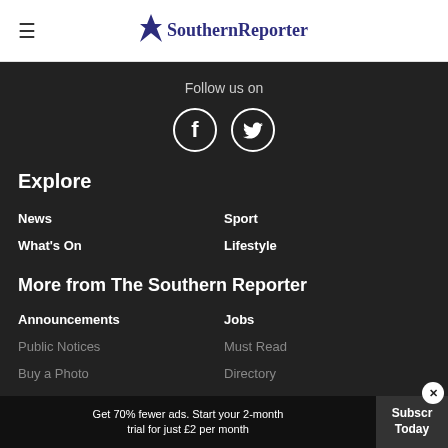≡  Southern Reporter
Follow us on
[Figure (illustration): Facebook and Twitter social media icons as white symbols inside dark circles]
Explore
News
Sport
What's On
Lifestyle
More from The Southern Reporter
Announcements
Jobs
Public Notices
Must Read
Buy a Photo
Directory
Get 70% fewer ads. Start your 2-month trial for just £2 per month   Subscribe Today  ×